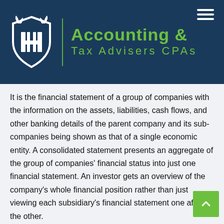[Figure (logo): Accounting & Tax Advisers CPAs logo with shield emblem on dark navy background]
It is the financial statement of a group of companies with the information on the assets, liabilities, cash flows, and other banking details of the parent company and its sub-companies being shown as that of a single economic entity. A consolidated statement presents an aggregate of the group of companies' financial status into just one financial statement. An investor gets an overview of the company's whole financial position rather than just viewing each subsidiary's financial statement one after the other.